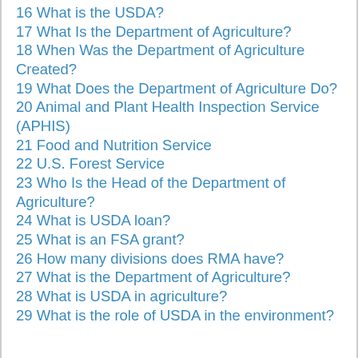16 What is the USDA? (partially cropped at top)
17 What Is the Department of Agriculture?
18 When Was the Department of Agriculture Created?
19 What Does the Department of Agriculture Do?
20 Animal and Plant Health Inspection Service (APHIS)
21 Food and Nutrition Service
22 U.S. Forest Service
23 Who Is the Head of the Department of Agriculture?
24 What is USDA loan?
25 What is an FSA grant?
26 How many divisions does RMA have?
27 What is the Department of Agriculture?
28 What is USDA in agriculture?
29 What is the role of USDA in the environment?